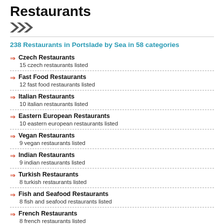Restaurants
238 Restaurants in Portslade by Sea in 58 categories
Czech Restaurants
15 czech restaurants listed
Fast Food Restaurants
12 fast food restaurants listed
Italian Restaurants
10 italian restaurants listed
Eastern European Restaurants
10 eastern european restaurants listed
Vegan Restaurants
9 vegan restaurants listed
Indian Restaurants
9 indian restaurants listed
Turkish Restaurants
8 turkish restaurants listed
Fish and Seafood Restaurants
8 fish and seafood restaurants listed
French Restaurants
8 french restaurants listed
Fine Dining Restaurants